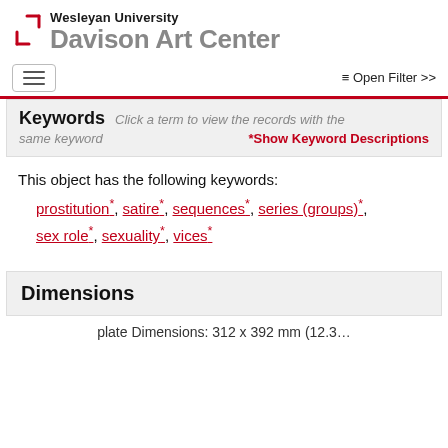Wesleyan University Davison Art Center
Keywords Click a term to view the records with the same keyword  *Show Keyword Descriptions
This object has the following keywords:
prostitution*, satire*, sequences*, series (groups)*, sex role*, sexuality*, vices*
Dimensions
plate Dimensions: 312 x 392 mm (12.3...